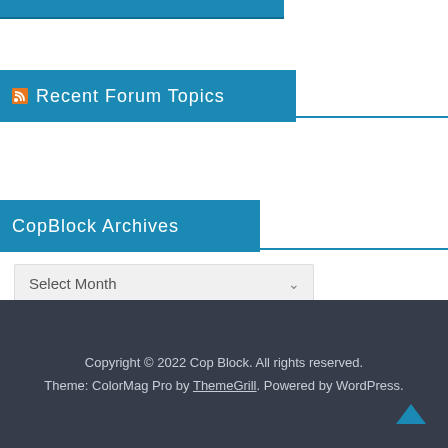[Figure (screenshot): Partial cropped image of CopBlock website header/banner at top of page]
Recent Forum Topics
CopBlock Archives
Select Month
Copyright © 2022 Cop Block. All rights reserved. Theme: ColorMag Pro by ThemeGrill. Powered by WordPress.